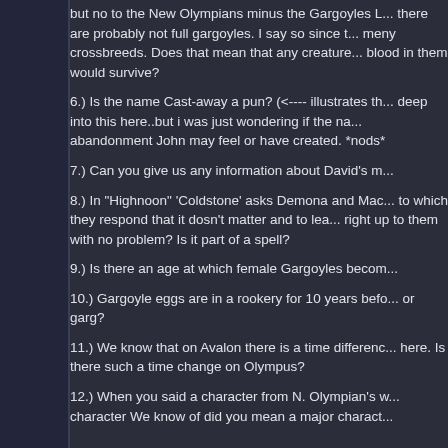but no to the New Olympians minus the Gargoyles [...] there are probably not full gargoyles. I say so since there are meny crossbreeds. Does that mean that any creature with gargoyle blood in them would survive?
6.) Is the name Cast-away a pun? (<---- illustrates that I'm going deep into this here..but i was just wondering if the na... sense of abandonment John may feel or have created. *nods*
7.) Can you give us any information about David's m...
8.) In "Highnoon" 'Coldstone' asks Demona and Mac... to which they respond that it dosn't matter and to lea... right up to them with no problem? Is it part of a spell?
9.) Is there an age at which female Gargoyles becom...
10.) Gargoyle eggs are in a rookery for 10 years befo... or garg?
11.) We know that on Avalon there is a time differenc... here. Is there such a time change on Olympus?
12.) When you said a character from N. Olympian's w... character We know of did you mean a major charact...